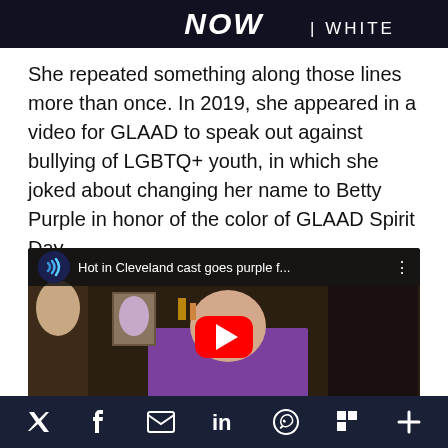[Figure (screenshot): Top portion of a web page showing 'NOW | WHITE' text on dark background]
She repeated something along those lines more than once. In 2019, she appeared in a video for GLAAD to speak out against bullying of LGBTQ+ youth, in which she joked about changing her name to Betty Purple in honor of the color of GLAAD Spirit Day.
[Figure (screenshot): YouTube video thumbnail showing 'Hot in Cleveland cast goes purple f...' with play button overlay, featuring elderly woman in purple top]
Social share bar with Twitter, Facebook, Email, LinkedIn, WhatsApp, Flipboard, and More icons